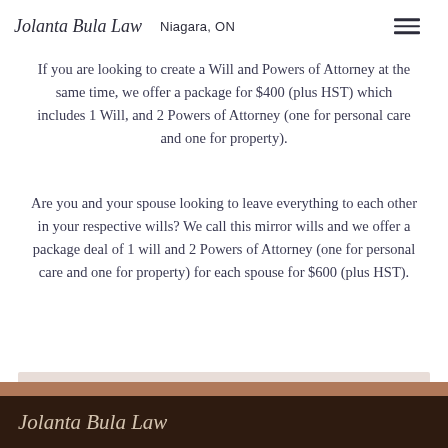Jolanta Bula Law   Niagara, ON
one for property) we charge $100 (plus HST).
If you are looking to create a Will and Powers of Attorney at the same time, we offer a package for $400 (plus HST) which includes 1 Will, and 2 Powers of Attorney (one for personal care and one for property).
Are you and your spouse looking to leave everything to each other in your respective wills? We call this mirror wills and we offer a package deal of 1 will and 2 Powers of Attorney (one for personal care and one for property) for each spouse for $600 (plus HST).
Contact us to schedule your appointment.
Click Here
Jolanta Bula Law